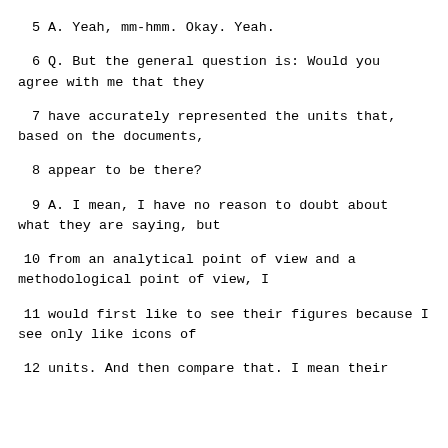5    A.   Yeah, mm-hmm.  Okay.  Yeah.
6    Q.   But the general question is:  Would you agree with me that they
7    have accurately represented the units that, based on the documents,
8    appear to be there?
9    A.   I mean, I have no reason to doubt about what they are saying, but
10   from an analytical point of view and a methodological point of view, I
11   would first like to see their figures because I see only like icons of
12   units.  And then compare that.  I mean their